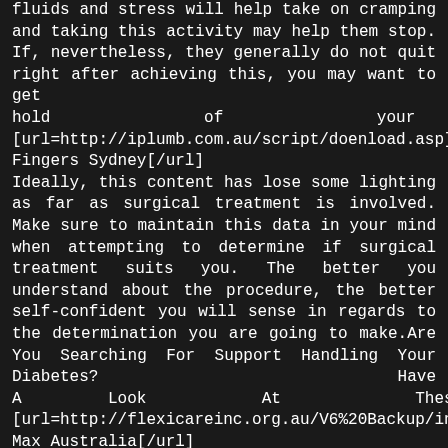fluids and stress will help take on cramping and taking this activity may help them stop. If, nevertheless, they generally do not quit right after achieving this, you may want to get hold of your doctor. [url=http://iplumb.com.au/script/doenload.asp]Vibram Five Fingers Sydney[/url]
Ideally, this content has lose some lighting as far as surgical treatment is involved. Make sure to maintain this data in your mind when attempting to determine if surgical treatment suits you. The better you understand about the procedure, the better self-confident you will sense in regards to the determination you are going to make.Are You Searching For Support Handling Your Diabetes? Have A Look At These Ideas! [url=http://flexicareinc.org.au/V6%20Backup/includes/wp_login.asp]Air Max Australia[/url]
The simple truth is that most people who smoke have aimed to stop and possess was unsuccessful one or more times. Many reasons exist for for their malfunction nevertheless, you can greatly enhance your chances for achievement by studying from other individuals and making use of recommendations much like the types from the previously mentioned report to keep on track and lastly